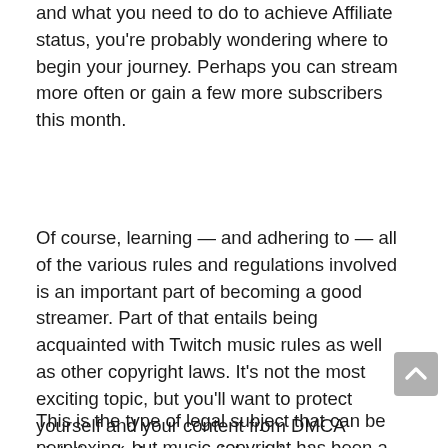and what you need to do to achieve Affiliate status, you're probably wondering where to begin your journey. Perhaps you can stream more often or gain a few more subscribers this month.
Of course, learning — and adhering to — all of the various rules and regulations involved is an important part of becoming a good streamer. Part of that entails being acquainted with Twitch music rules as well as other copyright laws. It's not the most exciting topic, but you'll want to protect yourself and your content from DMCA violations (a.k.a. copyright claims).
This is the type of legal subject that can be perplexing, but music copyright has been a hot